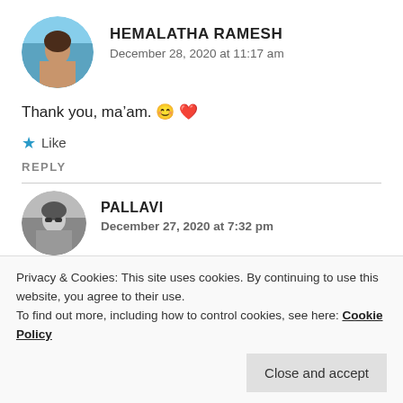[Figure (photo): Circular avatar photo of Hemalatha Ramesh, outdoor scene with blue sky]
HEMALATHA RAMESH
December 28, 2020 at 11:17 am
Thank you, ma’am. 😊 ❤️
★ Like
REPLY
[Figure (photo): Circular avatar photo of Pallavi, black and white portrait]
PALLAVI
December 27, 2020 at 7:32 pm
Privacy & Cookies: This site uses cookies. By continuing to use this website, you agree to their use.
To find out more, including how to control cookies, see here: Cookie Policy
Close and accept